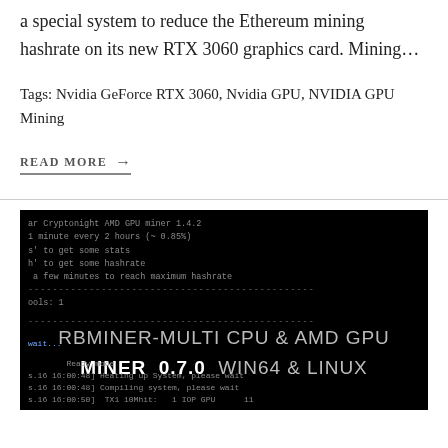a special system to reduce the Ethereum mining hashrate on its new RTX 3060 graphics card. Mining…
Tags: Nvidia GeForce RTX 3060, Nvidia GPU, NVIDIA GPU Mining
READ MORE →
[Figure (screenshot): Terminal screenshot showing RBMiner-Multi CPU & AMD GPU Miner 0.7.0 WIN64 & LINUX startup output with Cryptonight AMD GPU miner 1.4.2 text and system compilation messages]